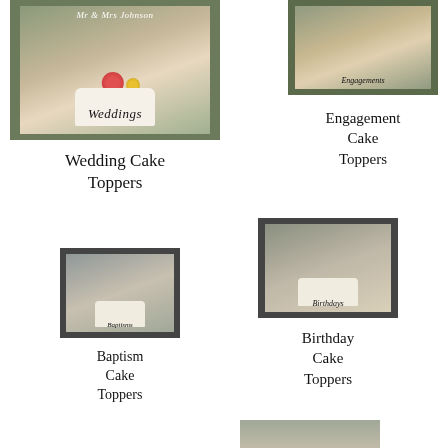[Figure (photo): Wedding cake topper product photo showing a white cake with floral decoration and script text reading 'Weddings', framed in dark green border]
Wedding Cake Toppers
[Figure (photo): Engagement cake topper product photo showing a cake with 'Engagements' script, framed in dark green border]
Engagement Cake Toppers
[Figure (photo): Baptism cake topper product photo showing a small white cake with topper, framed in dark border with script 'Baptisms']
Baptism Cake Toppers
[Figure (photo): Birthday cake topper product photo showing a cake with 'Birthdays' script, framed in dark border]
Birthday Cake Toppers
[Figure (photo): Partial view of another cake topper product photo at page bottom]